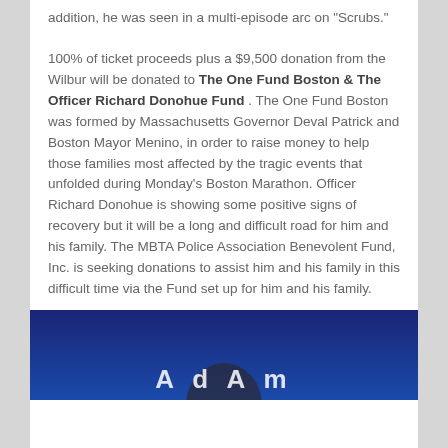addition, he was seen in a multi-episode arc on "Scrubs."
100% of ticket proceeds plus a $9,500 donation from the Wilbur will be donated to The One Fund Boston & The Officer Richard Donohue Fund . The One Fund Boston was formed by Massachusetts Governor Deval Patrick and Boston Mayor Menino, in order to raise money to help those families most affected by the tragic events that unfolded during Monday's Boston Marathon. Officer Richard Donohue is showing some positive signs of recovery but it will be a long and difficult road for him and his family. The MBTA Police Association Benevolent Fund, Inc. is seeking donations to assist him and his family in this difficult time via the Fund set up for him and his family.
[Figure (photo): A dark blue background image, partially visible, showing the bottom portion of the page with white text overlay partially visible.]